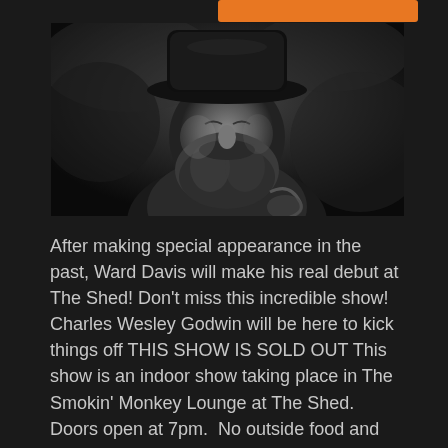[Figure (photo): Black and white portrait photo of a bearded man wearing a wide-brim hat, eyes closed, playing guitar]
After making special appearance in the past, Ward Davis will make his real debut at The Shed! Don't miss this incredible show! Charles Wesley Godwin will be here to kick things off THIS SHOW IS SOLD OUT This show is an indoor show taking place in The Smokin' Monkey Lounge at The Shed. Doors open at 7pm. No outside food and drinks are permitted. All tickets purchases are final. Refunds not given.